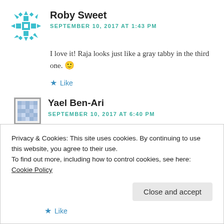[Figure (illustration): Avatar icon for Roby Sweet - teal/cyan geometric snowflake-style pixel avatar]
Roby Sweet
SEPTEMBER 10, 2017 AT 1:43 PM
I love it! Raja looks just like a gray tabby in the third one. 🙂
★ Like
[Figure (illustration): Avatar icon for Yael Ben-Ari - blue/grey pixelated avatar with square border]
Yael Ben-Ari
SEPTEMBER 10, 2017 AT 6:40 PM
Privacy & Cookies: This site uses cookies. By continuing to use this website, you agree to their use.
To find out more, including how to control cookies, see here: Cookie Policy
Close and accept
★ Like